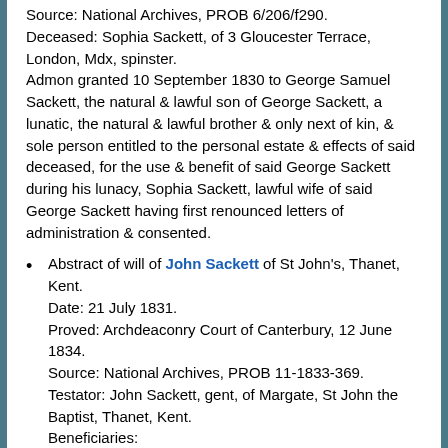Source: National Archives, PROB 6/206/f290. Deceased: Sophia Sackett, of 3 Gloucester Terrace, London, Mdx, spinster. Admon granted 10 September 1830 to George Samuel Sackett, the natural & lawful son of George Sackett, a lunatic, the natural & lawful brother & only next of kin, & sole person entitled to the personal estate & effects of said deceased, for the use & benefit of said George Sackett during his lunacy, Sophia Sackett, lawful wife of said George Sackett having first renounced letters of administration & consented.
Abstract of will of John Sackett of St John's, Thanet, Kent. Date: 21 July 1831. Proved: Archdeaconry Court of Canterbury, 12 June 1834. Source: National Archives, PROB 11-1833-369. Testator: John Sackett, gent, of Margate, St John the Baptist, Thanet, Kent. Beneficiaries: Wife Ann, for life, the free use & enjoyment of all my household goods, furniture, plate, linen, china & implements of household & also the rents, issues &